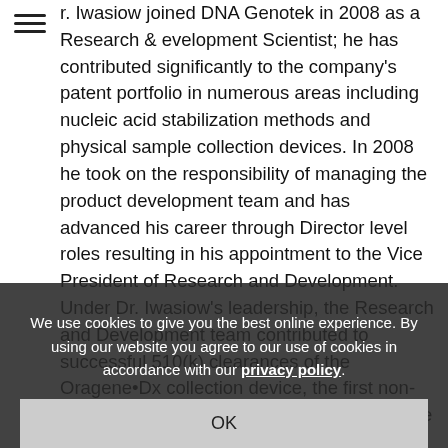r. Iwasiow joined DNA Genotek in 2008 as a Research & evelopment Scientist; he has contributed significantly to the company's patent portfolio in numerous areas including nucleic acid stabilization methods and physical sample collection devices. In 2008 he took on the responsibility of managing the product development team and has advanced his career through Director level roles resulting in his appointment to the Vice President of Research and Development. Under Dr. Iwasiow's leadership, the Research and Development team contributed to successful 510(k) clearances of the Oragene•Dx collection device, the first non-invasive DNA collection device cleared by the FDA, and he and his team have developed and delivered new ch... ...hroughout his tenure at DNA Genotek, Dr. Iwasiow completed a post-doctoral fellowship at the National Research Council of Canada in the areas of neurogenesis/ne... ...and he holds a Ph.D. degree in Cellular and M... ...icine from the University of
We use cookies to give you the best online experience. By using our website you agree to our use of cookies in accordance with our privacy policy.